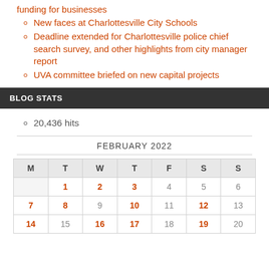funding for businesses
New faces at Charlottesville City Schools
Deadline extended for Charlottesville police chief search survey, and other highlights from city manager report
UVA committee briefed on new capital projects
BLOG STATS
20,436 hits
FEBRUARY 2022
| M | T | W | T | F | S | S |
| --- | --- | --- | --- | --- | --- | --- |
|  | 1 | 2 | 3 | 4 | 5 | 6 |
| 7 | 8 | 9 | 10 | 11 | 12 | 13 |
| 14 | 15 | 16 | 17 | 18 | 19 | 20 |